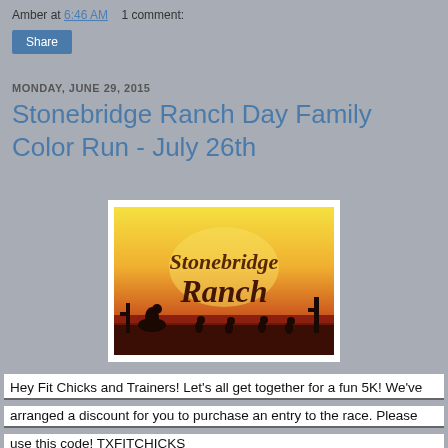Amber at 6:46 AM   1 comment:
Share
MONDAY, JUNE 29, 2015
Stonebridge Ranch Day Family Color Run - July 26th
[Figure (logo): Stonebridge Ranch logo with colorful western sunset background, silhouettes of cowboy and runners, and decorative script text reading 'Stonebridge Ranch']
Hey Fit Chicks and Trainers! Let's all get together for a fun 5K! We've arranged a discount for you to purchase an entry to the race. Please use this code! TXFITCHICKS